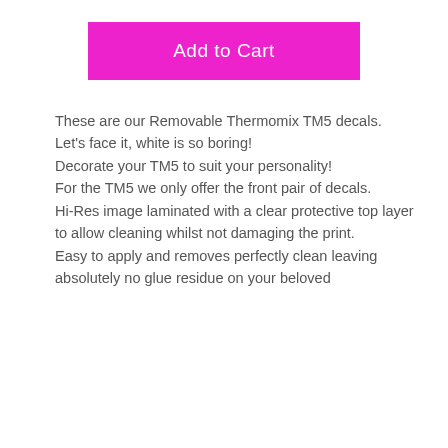Add to Cart
These are our Removable Thermomix TM5 decals.
Let's face it, white is so boring!
Decorate your TM5 to suit your personality!
For the TM5 we only offer the front pair of decals.
Hi-Res image laminated with a clear protective top layer to allow cleaning whilst not damaging the print.
Easy to apply and removes perfectly clean leaving absolutely no glue residue on your beloved